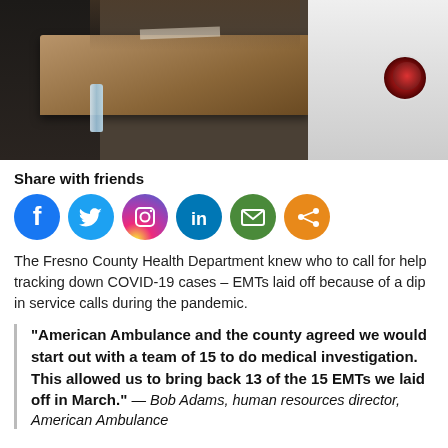[Figure (photo): Photo of a person in white EMT/ambulance uniform sitting at a desk, with a water bottle and papers visible. Dark background individual on the left side. Indoor setting.]
Share with friends
[Figure (infographic): Six social media sharing icons in circles: Facebook (dark blue), Twitter (light blue), Instagram (gradient pink/purple/orange), LinkedIn (blue), Email (green), Share (orange)]
The Fresno County Health Department knew who to call for help tracking down COVID-19 cases – EMTs laid off because of a dip in service calls during the pandemic.
“American Ambulance and the county agreed we would start out with a team of 15 to do medical investigation. This allowed us to bring back 13 of the 15 EMTs we laid off in March.” — Bob Adams, human resources director, American Ambulance